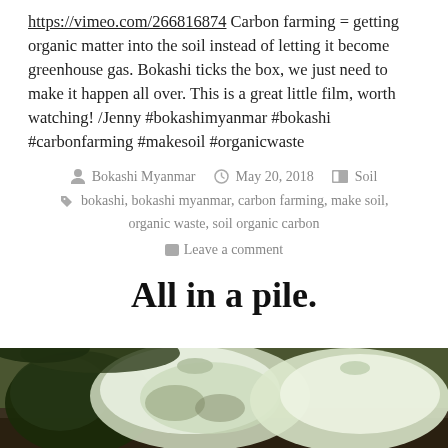https://vimeo.com/266816874 Carbon farming = getting organic matter into the soil instead of letting it become greenhouse gas. Bokashi ticks the box, we just need to make it happen all over. This is a great little film, worth watching! /Jenny #bokashimyanmar #bokashi #carbonfarming #makesoil #organicwaste
By Bokashi Myanmar | May 20, 2018 | Posted in Soil | Tags: bokashi, bokashi myanmar, carbon farming, make soil, organic waste, soil organic carbon | Leave a comment
All in a pile.
[Figure (photo): Photo of compost/waste materials in plastic bags on the ground outdoors, in a garden or outdoor setting]